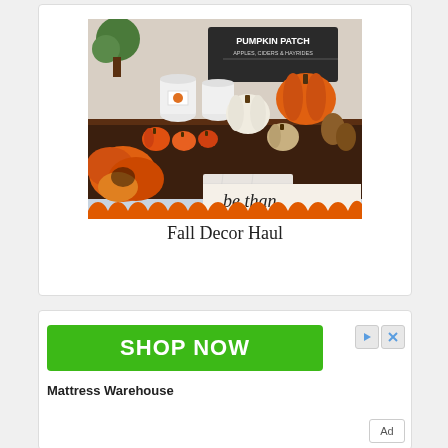[Figure (photo): Fall / autumn decor display on a dark wooden table with pumpkins (orange, white, textured), orange floral arrangement, candles, signs reading 'Pumpkin Patch Apples, Ciders & Hayrides', and a 'be thankful' wooden sign. Orange scalloped bottom border on the image.]
Fall Decor Haul
[Figure (screenshot): Advertisement banner with a green 'SHOP NOW' button, ad controls (arrow and X icons), and 'Mattress Warehouse' advertiser name. An 'Ad' label appears in the bottom right corner.]